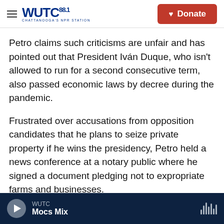WUTC 88.1 Chattanooga's NPR Station | Donate
Petro claims such criticisms are unfair and has pointed out that President Iván Duque, who isn't allowed to run for a second consecutive term, also passed economic laws by decree during the pandemic.
Frustrated over accusations from opposition candidates that he plans to seize private property if he wins the presidency, Petro held a news conference at a notary public where he signed a document pledging not to expropriate farms and businesses.
WUTC | Mocs Mix